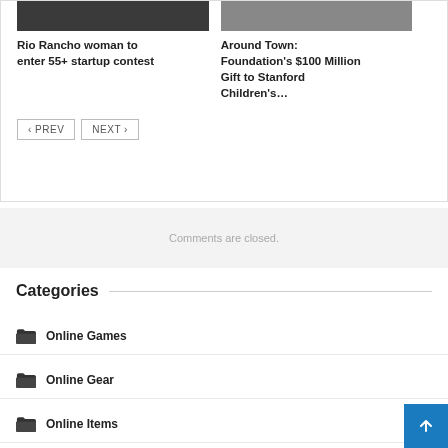[Figure (photo): Top portion of two article cards with dark images cropped at top]
Rio Rancho woman to enter 55+ startup contest
Around Town: Foundation's $100 Million Gift to Stanford Children's…
‹ PREV   NEXT ›
Comments are closed.
Categories
Online Games
Online Gear
Online Items